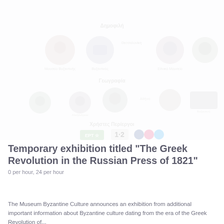[Figure (screenshot): Faded/watermarked top section showing logos and icons for what appears to be a cultural/museum website navigation area with multiple icon rows and section labels in Greek or similar language]
Temporary exhibition titled "The Greek Revolution in the Russian Press of 1821"
0 per hour, 24 per year
The Museum Byzantine Culture announces an important exhibition with information about Byzantine culture dating from the era of the Greek Revolution of...